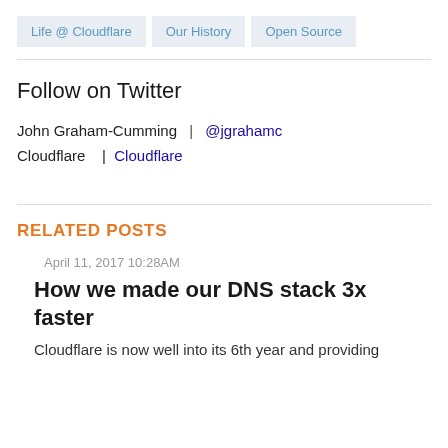Life @ Cloudflare
Our History
Open Source
Follow on Twitter
John Graham-Cumming  |  @jgrahamc
Cloudflare   |  Cloudflare
RELATED POSTS
April 11, 2017 10:28AM
How we made our DNS stack 3x faster
Cloudflare is now well into its 6th year and providing